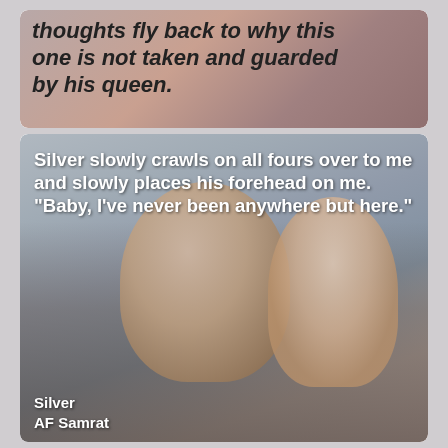[Figure (illustration): Top card image with dark reddish-brown textured background showing partial text: 'thoughts fly back to why this one is not taken and guarded by his queen.']
thoughts fly back to why this one is not taken and guarded by his queen.
[Figure (photo): Bottom card showing a couple about to kiss, man with shaved head and woman with long hair, muted gray-blue tones. Overlaid bold white text quote and attribution.]
Silver slowly crawls on all fours over to me and slowly places his forehead on me. "Baby, I've never been anywhere but here."
Silver
AF Samrat